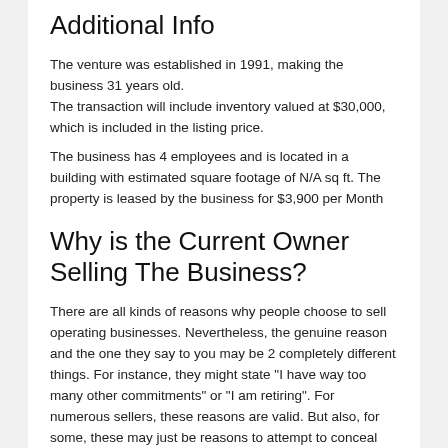Additional Info
The venture was established in 1991, making the business 31 years old.
The transaction will include inventory valued at $30,000, which is included in the listing price.
The business has 4 employees and is located in a building with estimated square footage of N/A sq ft. The property is leased by the business for $3,900 per Month
Why is the Current Owner Selling The Business?
There are all kinds of reasons why people choose to sell operating businesses. Nevertheless, the genuine reason and the one they say to you may be 2 completely different things. For instance, they might state "I have way too many other commitments" or "I am retiring". For numerous sellers, these reasons are valid. But also, for some, these may just be reasons to attempt to conceal the reality of changing.